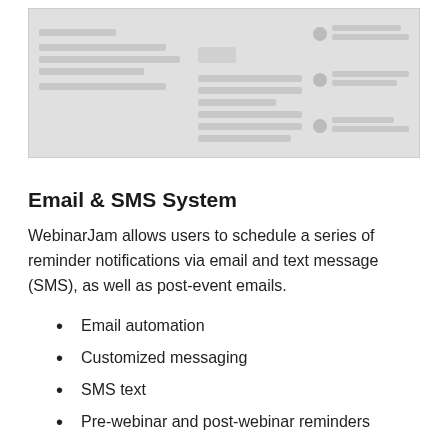[Figure (screenshot): Screenshot of a webinar interface showing a mock UI with placeholder lines and form elements]
Email & SMS System
WebinarJam allows users to schedule a series of reminder notifications via email and text message (SMS), as well as post-event emails.
Email automation
Customized messaging
SMS text
Pre-webinar and post-webinar reminders